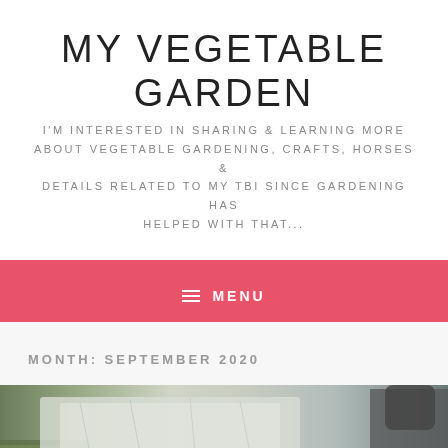MY VEGETABLE GARDEN
I'M INTERESTED IN SHARING & LEARNING MORE ABOUT VEGETABLE GARDENING, CRAFTS, HORSES & DETAILS RELATED TO MY TBI SINCE GARDENING HAS HELPED WITH THAT...
≡ MENU
MONTH: SEPTEMBER 2020
[Figure (photo): Outdoor photo showing grass and plastic sheeting or tarp, with a dark horse or animal visible on the right side]